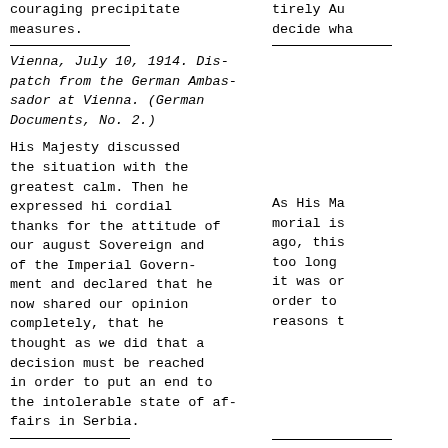couraging precipitate measures.
tirely Au decide wha
Vienna, July 10, 1914. Dispatch from the German Ambassador at Vienna. (German Documents, No. 2.)
His Majesty discussed the situation with the greatest calm. Then he expressed hi cordial thanks for the attitude of our august Sovereign and of the Imperial Government and declared that he now shared our opinion completely, that he thought as we did that a decision must be reached in order to put an end to the intolerable state of affairs in Serbia.
As His Ma morial is ago, this too long it was or order to reasons t
Vienna, July 14, 1914. Dispatch from the German Ambassador at Vienna (German Documents, No. 49.)
The Count told